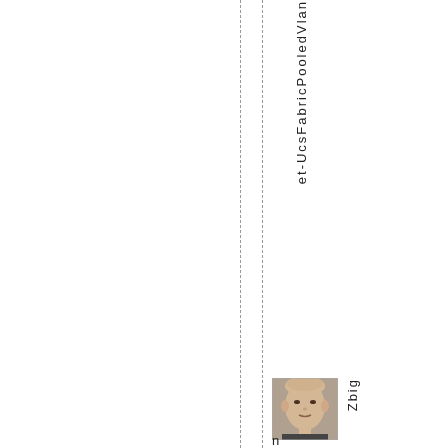et-UcsFabricPooledVlan
[Figure (photo): Headshot photo of a person, a bald or short-haired man looking at camera]
Zbig
n